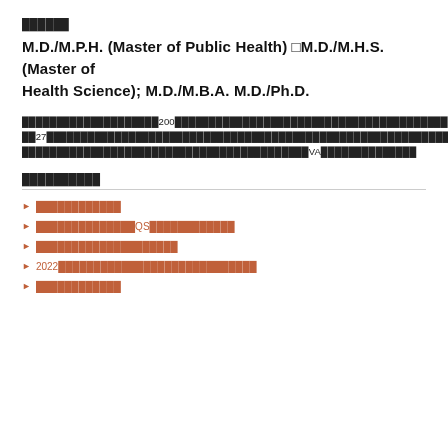██████
M.D./M.P.H. (Master of Public Health) □M.D./M.H.S. (Master of Health Science); M.D./M.B.A. M.D./Ph.D.
████████████████████200████████████████████████████████████████████████████27██████████████████████████████████████████████████████████████████████944████████████████████████████████████████████████████VA██████████████
██████████
████████████
██████████████QS████████████
████████████████████
2022████████████████████████████
████████████